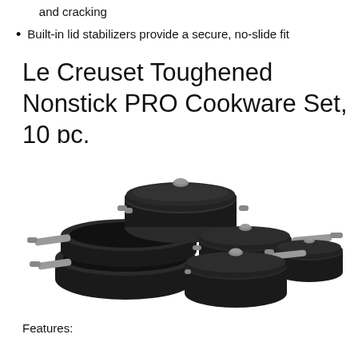and cracking
Built-in lid stabilizers provide a secure, no-slide fit
Le Creuset Toughened Nonstick PRO Cookware Set, 10 pc.
[Figure (photo): Le Creuset Toughened Nonstick PRO Cookware Set showing multiple black pots, pans, and saucepans with glass lids and stainless steel handles arranged together]
Features: